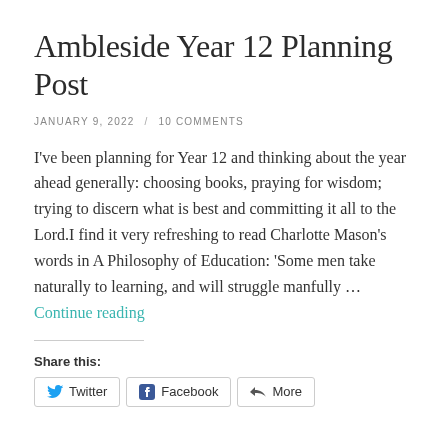Ambleside Year 12 Planning Post
JANUARY 9, 2022  /  10 COMMENTS
I've been planning for Year 12 and thinking about the year ahead generally: choosing books, praying for wisdom; trying to discern what is best and committing it all to the Lord.I find it very refreshing to read Charlotte Mason's words in A Philosophy of Education: 'Some men take naturally to learning, and will struggle manfully … Continue reading
Share this:
Twitter  Facebook  More